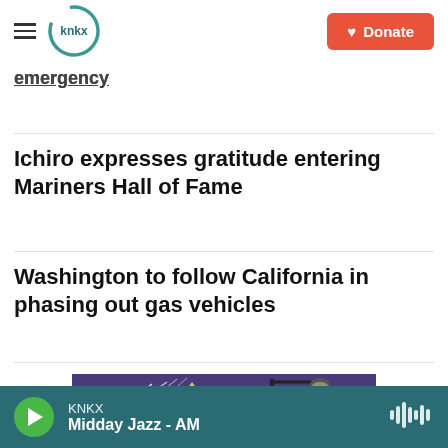[Figure (logo): KNKX radio station logo — circular teal/green arc with 'knkx' text inside]
[Figure (other): Orange donate button with heart icon and text 'Donate']
emergency
Ichiro expresses gratitude entering Mariners Hall of Fame
Washington to follow California in phasing out gas vehicles
[Figure (photo): Illustration/image with purple background showing text 'THE WALK' on a yellow warning sign with a street lamp and white diagonal lines suggesting a bridge or intersection]
KNKX
Midday Jazz - AM